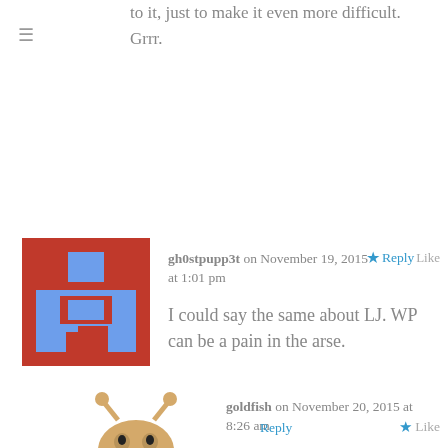to it, just to make it even more difficult. Grrr.
gh0stpupp3t on November 19, 2015 at 1:01 pm
Reply Like
I could say the same about LJ. WP can be a pain in the arse.
goldfish on November 20, 2015 at 8:26 am
Reply
Like
I assume you mean Live Journal? I've never used that one.
adamjasonp on November 19, 2015 at 3:56 pm